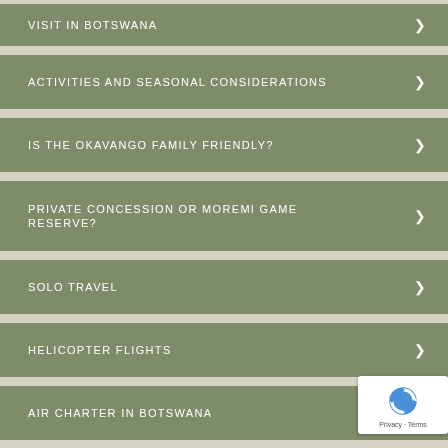VISIT IN BOTSWANA
ACTIVITIES AND SEASONAL CONSIDERATIONS
IS THE OKAVANGO FAMILY FRIENDLY?
PRIVATE CONCESSION OR MOREMI GAME RESERVE?
SOLO TRAVEL
HELICOPTER FLIGHTS
AIR CHARTER IN BOTSWANA
AFRICAN GUIDE ACADEMY